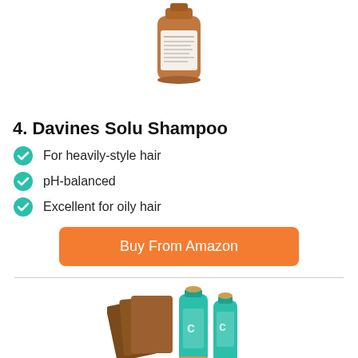[Figure (photo): Davines Solu Shampoo product bottle (amber/brown glass bottle)]
4. Davines Solu Shampoo
For heavily-style hair
pH-balanced
Excellent for oily hair
Buy From Amazon
[Figure (photo): Malibu C Hard Water Shampoo products — teal bottles and brown packets]
5. Malibu C Hard Water Shampoo
Removes hard water minerals